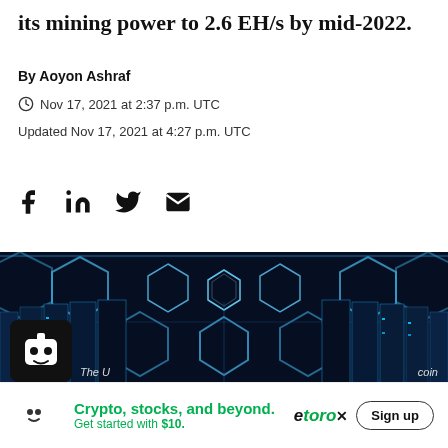its mining power to 2.6 EH/s by mid-2022.
By Aoyon Ashraf
Nov 17, 2021 at 2:37 p.m. UTC
Updated Nov 17, 2021 at 4:27 p.m. UTC
[Figure (screenshot): Social sharing icons: Facebook, LinkedIn, Twitter, Email]
[Figure (photo): A dark blue lit data center corridor with hexagonal ceiling lights and server racks on both sides]
The U... coin
Crypto, stocks, and beyond. Get started with $10. eToro Sign up